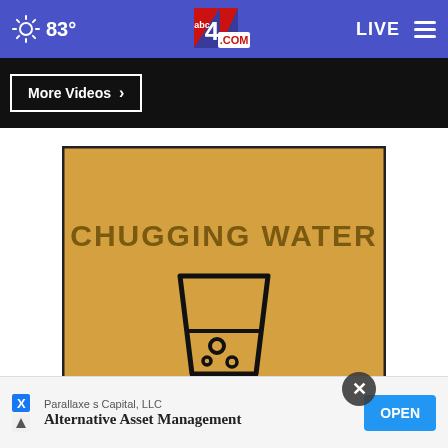83° abc4.com LIVE
More Videos ›
[Figure (infographic): Golden/amber background infographic card with text 'CHUGGING WATER' and an icon of a drinking glass with bubbles drawn in black line art on the amber background.]
Parallaxe s Capital, LLC
Alternative Asset Management OPEN